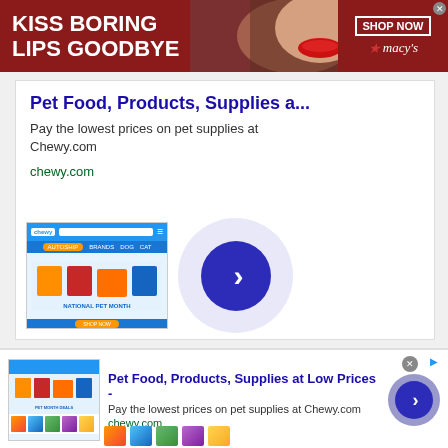[Figure (screenshot): Macy's banner advertisement with dark red background. Text reads 'KISS BORING LIPS GOODBYE' on the left, a woman's face with red lips in the center, and 'SHOP NOW' button with Macy's logo and star on the right.]
[Figure (screenshot): Chewy.com Google display advertisement. Title: 'Pet Food, Products, Supplies a...' Description: 'Pay the lowest prices on pet supplies at Chewy.com' URL: chewy.com. Shows Chewy website screenshot with product thumbnails and a circular play/navigate button.]
[Figure (screenshot): Second Chewy.com advertisement bar at the bottom. Title: 'Pet Food, Products, Supplies at Low Prices -' Description: 'Pay the lowest prices on pet supplies at Chewy.com' URL: chewy.com. Shows Chewy website screenshot thumbnail, product images, and a circular navigate button.]